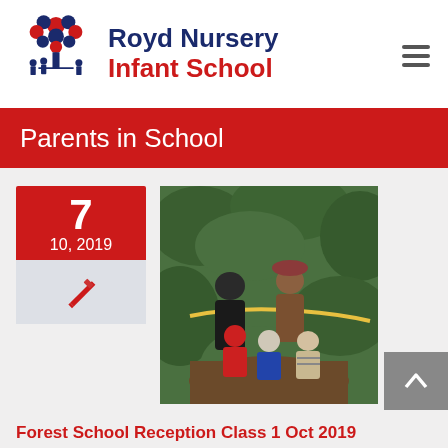[Figure (logo): Royd Nursery Infant School logo with colorful tree made of circles and silhouetted children figures]
Parents in School
[Figure (photo): Group photo of two adults and three young children outdoors in a forest/garden setting with green foliage in background]
Forest School Reception Class 1 Oct 2019
Week 2 The children recapped safety aspects that they were taught last week. They really wanted to